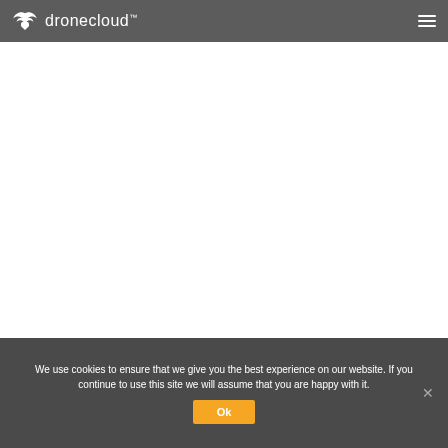dronecloud™
[Figure (other): Main white content area of the dronecloud website, blank/loading]
We use cookies to ensure that we give you the best experience on our website. If you continue to use this site we will assume that you are happy with it.
Ok